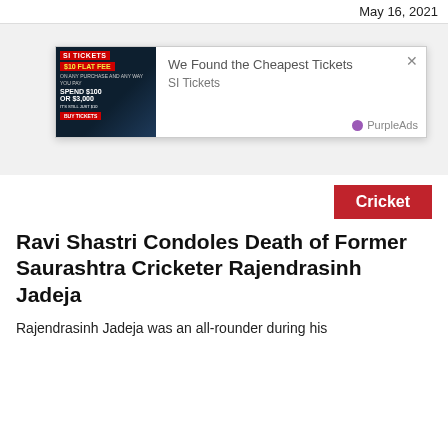May 16, 2021
[Figure (screenshot): Advertisement overlay: SI Tickets - We Found the Cheapest Tickets. Shows football player image on left with red banner '$10 FLAT FEE', ad title 'We Found the Cheapest Tickets', source 'SI Tickets', close button X, PurpleAds branding.]
Cricket
Ravi Shastri Condoles Death of Former Saurashtra Cricketer Rajendrasinh Jadeja
Rajendrasinh Jadeja was an all-rounder during his